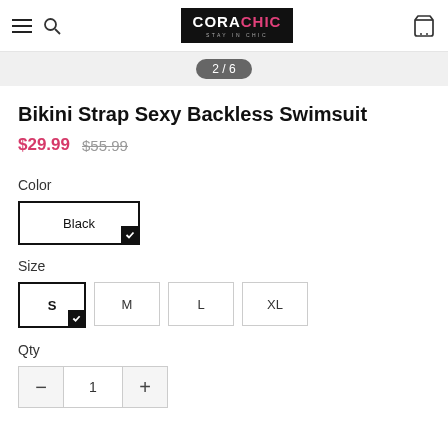CORACHIC — Stay in Chic, navigation with hamburger menu, search icon, and cart icon
2 / 6
Bikini Strap Sexy Backless Swimsuit
$29.99  $55.99
Color
Black
Size
S  M  L  XL
Qty
- 1 +